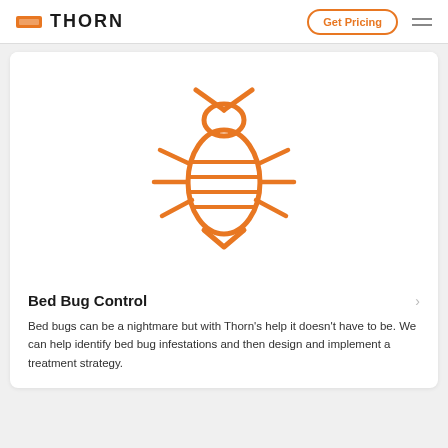THORN — Get Pricing
[Figure (illustration): Orange line-art icon of a bed bug (insect) with antennae, six legs, oval segmented body with horizontal lines]
Bed Bug Control
Bed bugs can be a nightmare but with Thorn's help it doesn't have to be. We can help identify bed bug infestations and then design and implement a treatment strategy.